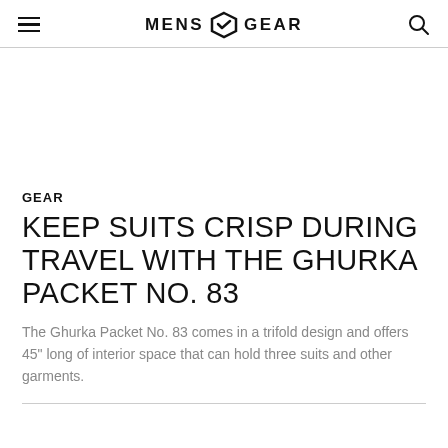MENS GEAR
[Figure (other): Empty white image area placeholder]
GEAR
KEEP SUITS CRISP DURING TRAVEL WITH THE GHURKA PACKET NO. 83
The Ghurka Packet No. 83 comes in a trifold design and offers 45" long of interior space that can hold three suits and other garments.